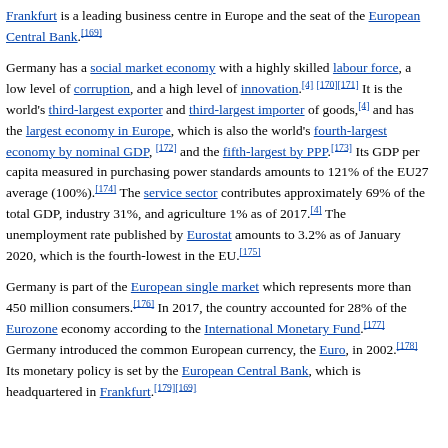Frankfurt is a leading business centre in Europe and the seat of the European Central Bank.[169]
Germany has a social market economy with a highly skilled labour force, a low level of corruption, and a high level of innovation.[4][170][171] It is the world's third-largest exporter and third-largest importer of goods,[4] and has the largest economy in Europe, which is also the world's fourth-largest economy by nominal GDP,[172] and the fifth-largest by PPP.[173] Its GDP per capita measured in purchasing power standards amounts to 121% of the EU27 average (100%).[174] The service sector contributes approximately 69% of the total GDP, industry 31%, and agriculture 1% as of 2017.[4] The unemployment rate published by Eurostat amounts to 3.2% as of January 2020, which is the fourth-lowest in the EU.[175]
Germany is part of the European single market which represents more than 450 million consumers.[176] In 2017, the country accounted for 28% of the Eurozone economy according to the International Monetary Fund.[177] Germany introduced the common European currency, the Euro, in 2002.[178] Its monetary policy is set by the European Central Bank, which is headquartered in Frankfurt.[179][169]